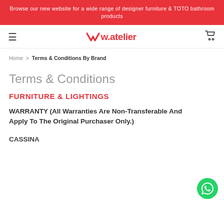Browse our new website for a wide range of designer furniture & TOTO bathroom products
[Figure (logo): w.atelier logo in red with hamburger menu and cart icon on white navbar]
Home > Terms & Conditions By Brand
Terms & Conditions
FURNITURE & LIGHTINGS
WARRANTY (All Warranties Are Non-Transferable And Apply To The Original Purchaser Only.)
CASSINA